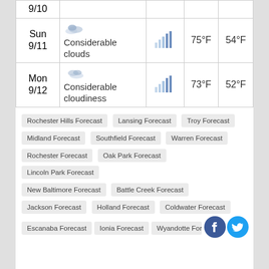| Date | Condition | Signal | High | Low |
| --- | --- | --- | --- | --- |
| 9/10 |  |  |  |  |
| Sun 9/11 | Considerable clouds |  | 75°F | 54°F |
| Mon 9/12 | Considerable cloudiness |  | 73°F | 52°F |
Rochester Hills Forecast
Lansing Forecast
Troy Forecast
Midland Forecast
Southfield Forecast
Warren Forecast
Rochester Forecast
Oak Park Forecast
Lincoln Park Forecast
New Baltimore Forecast
Battle Creek Forecast
Jackson Forecast
Holland Forecast
Coldwater Forecast
Escanaba Forecast
Ionia Forecast
Wyandotte Forecast